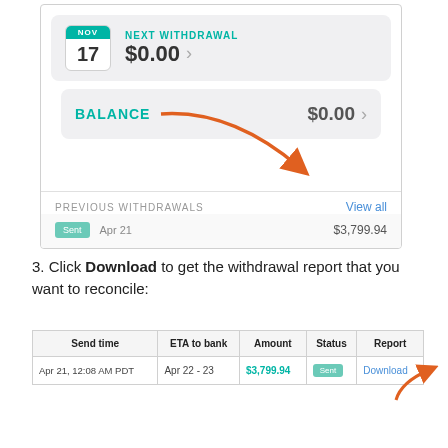[Figure (screenshot): App screenshot showing Next Withdrawal (NOV 17, $0.00), Balance ($0.00), Previous Withdrawals section with 'View all' link and a Sent entry for Apr 21 of $3,799.94, with an orange arrow pointing to 'View all']
3. Click Download to get the withdrawal report that you want to reconcile:
| Send time | ETA to bank | Amount | Status | Report |
| --- | --- | --- | --- | --- |
| Apr 21, 12:08 AM PDT | Apr 22 - 23 | $3,799.94 | Sent | Download |